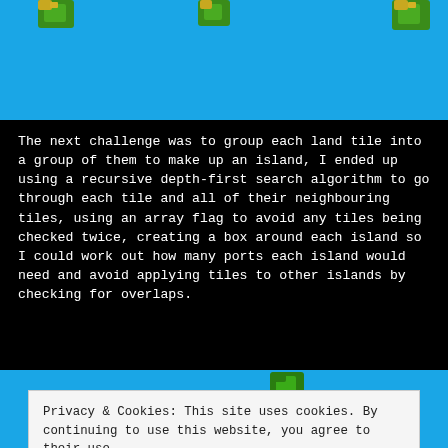[Figure (screenshot): Screenshot of a game map showing blue ocean with small green/yellow island tiles visible at the top]
The next challenge was to group each land tile into a group of them to make up an island, I ended up using a recursive depth-first search algorithm to go through each tile and all of their neighbouring tiles, using an array flag to avoid any tiles being checked twice, creating a box around each island so I could work out how many ports each island would need and avoid applying tiles to other islands by checking for overlaps.
[Figure (screenshot): Screenshot of a game map showing blue ocean with green island tiles, partially overlapped by a cookie consent banner]
Privacy & Cookies: This site uses cookies. By continuing to use this website, you agree to their use.
To find out more, including how to control cookies, see here: Cookie Policy
Close and accept